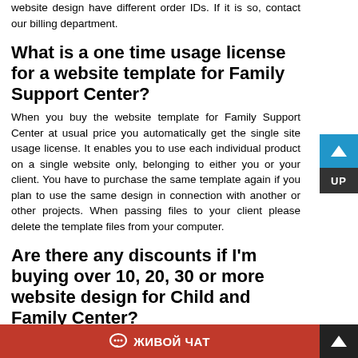website design have different order IDs. If it is so, contact our billing department.
What is a one time usage license for a website template for Family Support Center?
When you buy the website template for Family Support Center at usual price you automatically get the single site usage license. It enables you to use each individual product on a single website only, belonging to either you or your client. You have to purchase the same template again if you plan to use the same design in connection with another or other projects. When passing files to your client please delete the template files from your computer.
Are there any discounts if I'm buying over 10, 20, 30 or more website design for Child and Family Center?
Please contact our Pre-Sales team with your inquiries about Kids & Children Store website designs.